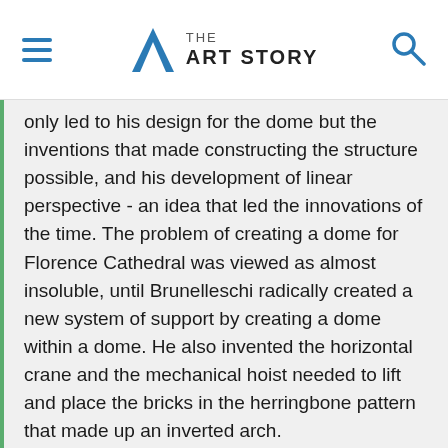THE ART STORY
only led to his design for the dome but the inventions that made constructing the structure possible, and his development of linear perspective - an idea that led the innovations of the time. The problem of creating a dome for Florence Cathedral was viewed as almost insoluble, until Brunelleschi radically created a new system of support by creating a dome within a dome. He also invented the horizontal crane and the mechanical hoist needed to lift and place the bricks in the herringbone pattern that made up an inverted arch.
His work exemplified the combination of artistic principles, informed by knowledge of classical design, with tireless scientific innovation. At the same time, often keeping his designs and ideas to himself